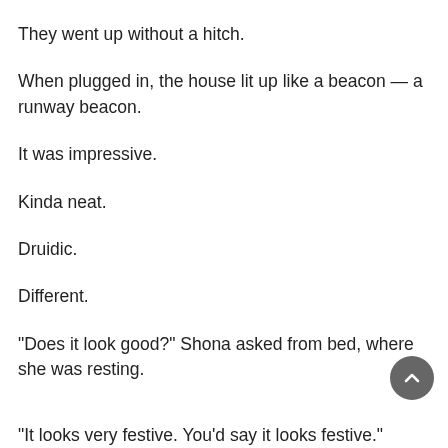They went up without a hitch.
When plugged in, the house lit up like a beacon — a runway beacon.
It was impressive.
Kinda neat.
Druidic.
Different.
“Does it look good?” Shona asked from bed, where she was resting.
“It looks very festive. You’d say it looks festive.”